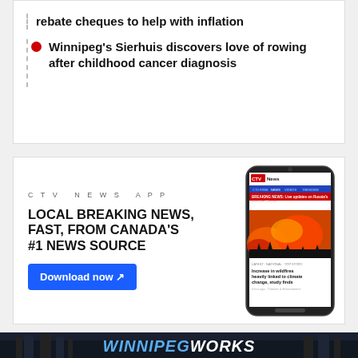rebate cheques to help with inflation
Winnipeg's Sierhuis discovers love of rowing after childhood cancer diagnosis
[Figure (infographic): CTV News App advertisement showing app label, headline 'LOCAL BREAKING NEWS, FAST, FROM CANADA'S #1 NEWS SOURCE', a Download now button, and a phone mockup displaying the CTV News app with a wildfire image and headline 'Increase in wildfires heavily linked to climate change, study finds']
[Figure (photo): Bottom banner showing city skyline at dusk with text 'WINNIPEGWORKS' in large stylized lettering]